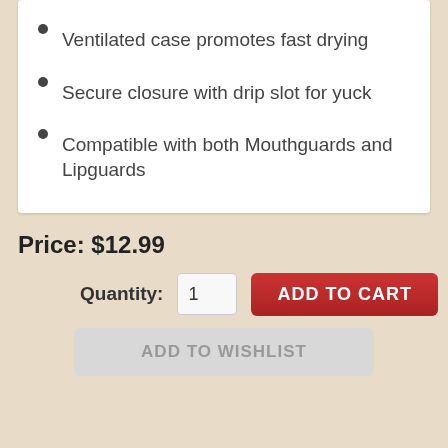Ventilated case promotes fast drying
Secure closure with drip slot for yuck
Compatible with both Mouthguards and Lipguards
Price: $12.99
Quantity: 1  ADD TO CART
ADD TO WISHLIST